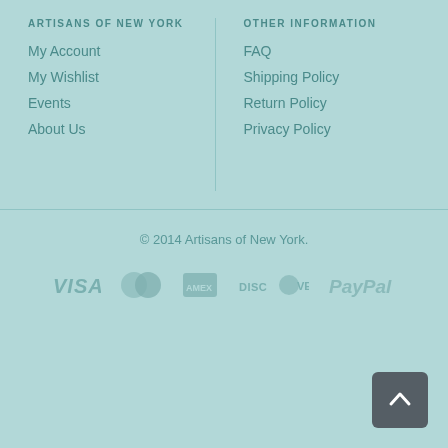ARTISANS OF NEW YORK
My Account
My Wishlist
Events
About Us
OTHER INFORMATION
FAQ
Shipping Policy
Return Policy
Privacy Policy
© 2014 Artisans of New York.
[Figure (logo): Payment method logos: VISA, Mastercard, American Express, Discover, PayPal]